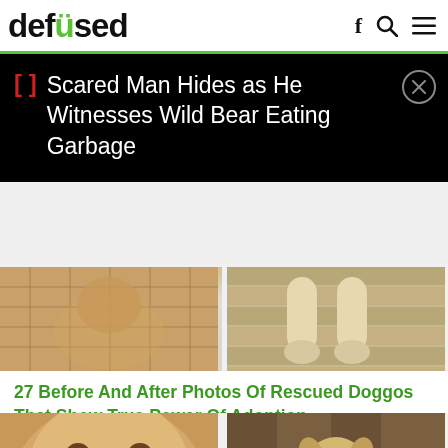defused
[Figure (screenshot): Ad banner overlay on black background: red brackets icon, text 'Scared Man Hides as He Witnesses Wild Bear Eating Garbage', close X button]
[Figure (photo): Before and after photos of rescued dogs - top row showing two dog photos side by side]
27 Before And After Photos Of Rescued Doggos That Show True Power Of Adoption
[Figure (photo): Bottom row: close-up of golden/yellow dog face showing teeth on left, small puppy standing on right]